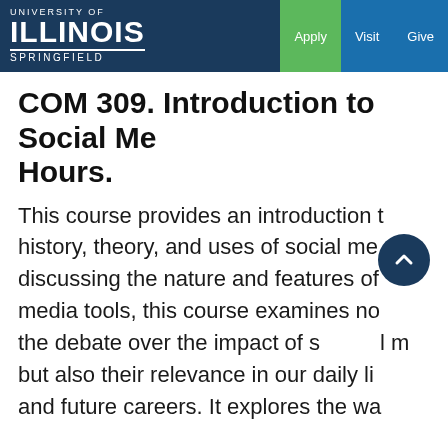University of Illinois Springfield — Apply | Visit | Give
COM 309. Introduction to Social Me... Hours.
This course provides an introduction to the history, theory, and uses of social media. By discussing the nature and features of social media tools, this course examines not only the debate over the impact of social media but also their relevance in our daily lives and future careers. It explores the way...